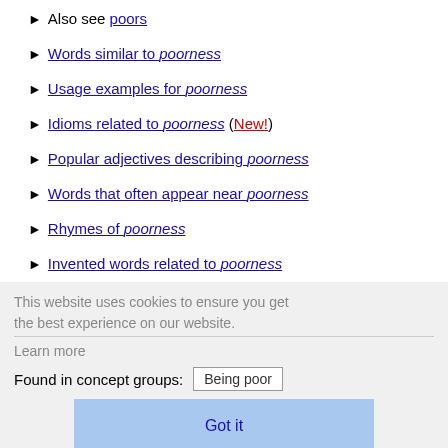Also see poors
Words similar to poorness
Usage examples for poorness
Idioms related to poorness (New!)
Popular adjectives describing poorness
Words that often appear near poorness
Rhymes of poorness
Invented words related to poorness
Found in concept groups: Being poor
Jump to: General, Art, Business, Computing, Medicine, Miscellaneous, Religion, Science